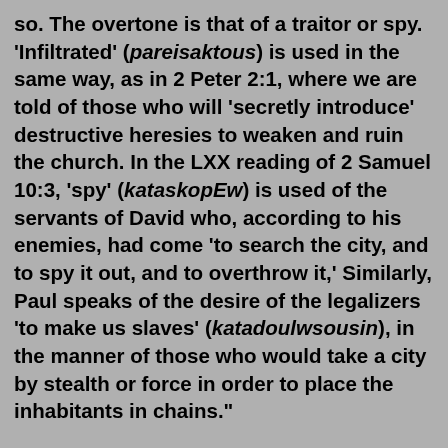so. The overtone is that of a traitor or spy. 'Infiltrated' (pareisaktous) is used in the same way, as in 2 Peter 2:1, where we are told of those who will 'secretly introduce' destructive heresies to weaken and ruin the church. In the LXX reading of 2 Samuel 10:3, 'spy' (kataskopEw) is used of the servants of David who, according to his enemies, had come 'to search the city, and to spy it out, and to overthrow it,' Similarly, Paul speaks of the desire of the legalizers 'to make us slaves' (katadoulwsousin), in the manner of those who would take a city by stealth or force in order to place the inhabitants in chains."